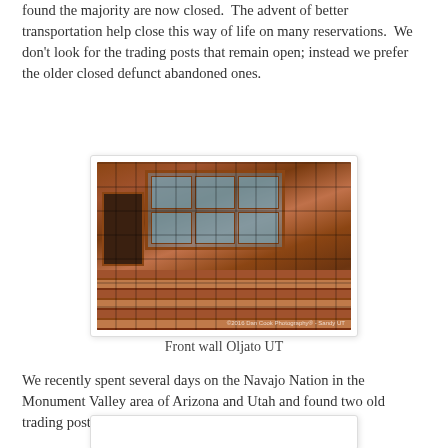found the majority are now closed.  The advent of better transportation help close this way of life on many reservations.  We don't look for the trading posts that remain open; instead we prefer the older closed defunct abandoned ones.
[Figure (photo): Photograph of the front wall of Oljato trading post in Utah, showing red sandstone walls with wooden-framed multi-pane windows, a dark wooden door, and a stone foundation wall.]
Front wall Oljato UT
We recently spent several days on the Navajo Nation in the Monument Valley area of Arizona and Utah and found two old trading posts.
[Figure (photo): Partially visible second photo at the bottom of the page.]